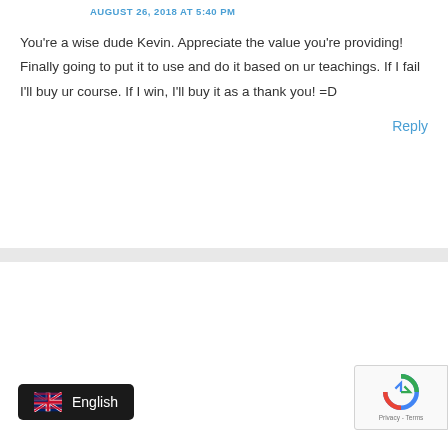AUGUST 26, 2018 AT 5:40 PM
You're a wise dude Kevin. Appreciate the value you're providing! Finally going to put it to use and do it based on ur teachings. If I fail I'll buy ur course. If I win, I'll buy it as a thank you! =D
Reply
GREASE112
SEPTEMBER 26, 2018 AT 2:06 AM
Awesome video, thanks! How do you go about testing ur shopify is linked to only 1 store. Can you make custom branded sub pages in Shop...